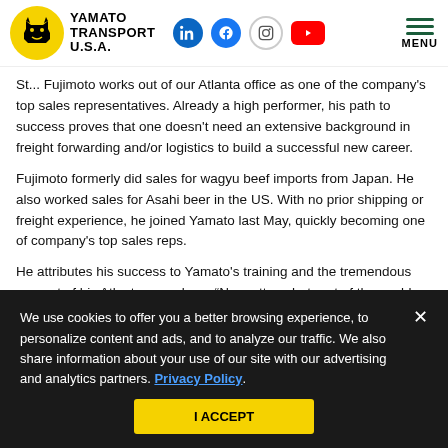[Figure (logo): Yamato Transport U.S.A. logo with yellow circle containing black cat icon, and social media icons (LinkedIn, Facebook, Instagram, YouTube) plus MENU button]
St... Fujimoto works out of our Atlanta office as one of the company's top sales representatives. Already a high performer, his path to success proves that one doesn't need an extensive background in freight forwarding and/or logistics to build a successful new career.
Fujimoto formerly did sales for wagyu beef imports from Japan. He also worked sales for Asahi beer in the US. With no prior shipping or freight experience, he joined Yamato last May, quickly becoming one of company's top sales reps.
He attributes his success to Yamato's training and the tremendous support of his Atlanta coworkers. “No matter what part of the world, people like receiving and sending things,” says Fujimoto. “At the start, I didn’t know much, but I love communicating with people. This job, more than anything,
We use cookies to offer you a better browsing experience, to personalize content and ads, and to analyze our traffic. We also share information about your use of our site with our advertising and analytics partners. Privacy Policy.